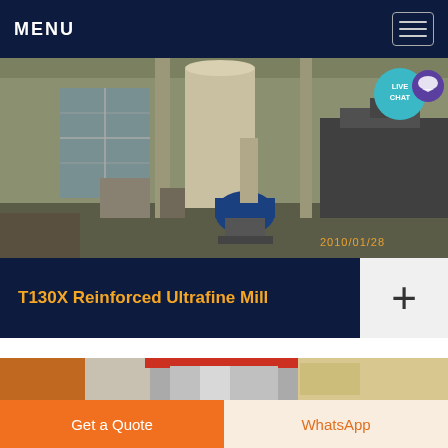MENU
[Figure (photo): Industrial mill equipment inside a factory, showing large machinery, a blue electric motor, metal structures and ductwork. Date stamp reads 2010/01/28. Live chat bubble in top right corner.]
T130X Reinforced Ultrafine Mill
[Figure (photo): Close-up of industrial steel vessel/tank with orange/red banding at top, crane visible on left, industrial building interior.]
Get a Quote
WhatsApp